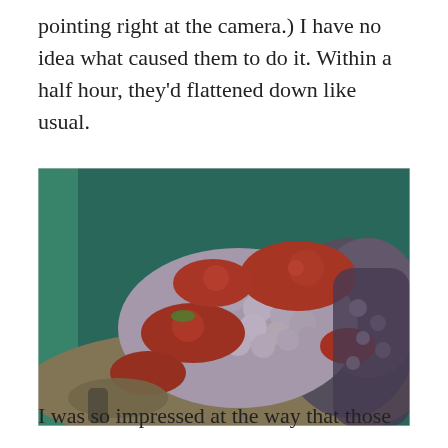pointing right at the camera.) I have no idea what caused them to do it. Within a half hour, they'd flattened down like usual.
[Figure (photo): Close-up photograph of coral in an aquarium, showing red mushroom corals and bumpy grayish-purple coralline growth on rocks, with a teal/green background visible at the edges.]
I was so impressed at the way that those